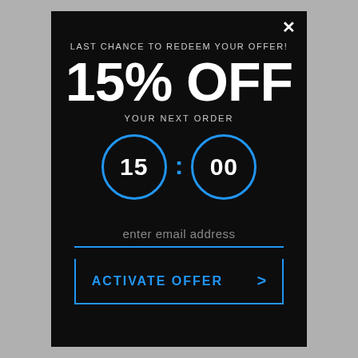×
LAST CHANCE TO REDEEM YOUR OFFER!
15% OFF
YOUR NEXT ORDER
[Figure (infographic): Countdown timer showing 15:00 with two circular blue-bordered displays for minutes (15) and seconds (00) separated by a blue colon]
enter email address
ACTIVATE OFFER